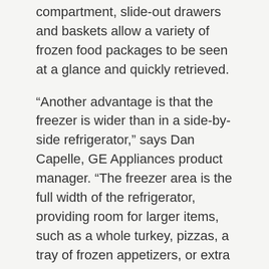compartment, slide-out drawers and baskets allow a variety of frozen food packages to be seen at a glance and quickly retrieved.
“Another advantage is that the freezer is wider than in a side-by-side refrigerator,” says Dan Capelle, GE Appliances product manager. “The freezer area is the full width of the refrigerator, providing room for larger items, such as a whole turkey, pizzas, a tray of frozen appetizers, or extra bags of ice.”
Sales of bottom-freezer refrigerators increased more than 40 percent in 2010 alone, according to the Association of Home Appliance Manufacturers. “Consumers love not only the convenience, but also the style and appearance of these models,” says GE’s Jeff Cooksey, marketing manager for refrigeration